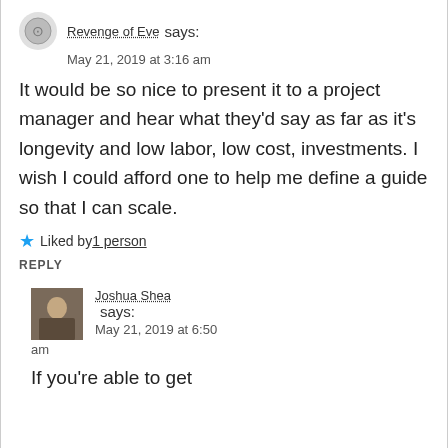Revenge of Eve says:
May 21, 2019 at 3:16 am
It would be so nice to present it to a project manager and hear what they'd say as far as it's longevity and low labor, low cost, investments. I wish I could afford one to help me define a guide so that I can scale.
★ Liked by 1 person
REPLY
Joshua Shea says:
May 21, 2019 at 6:50 am
If you're able to get